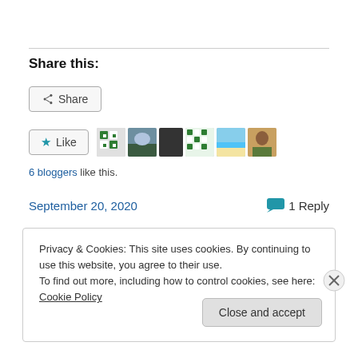Share this:
[Figure (other): Share button with icon]
[Figure (other): Like button with star icon and 6 blogger avatars]
6 bloggers like this.
September 20, 2020    1 Reply
Privacy & Cookies: This site uses cookies. By continuing to use this website, you agree to their use.
To find out more, including how to control cookies, see here: Cookie Policy
Close and accept